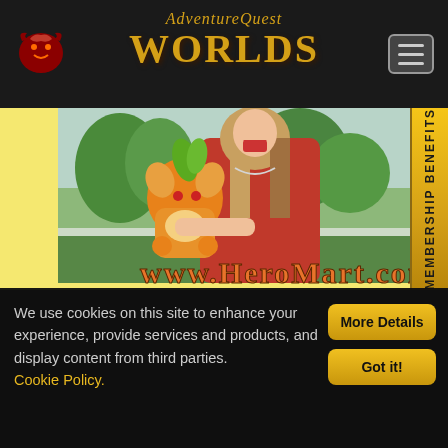AdventureQuest Worlds
[Figure (photo): Screenshot of AdventureQuest Worlds website showing a woman in a red dress holding an orange dragon plush toy, with HeroMart.com text overlay, and a Membership Benefits side tab]
We use cookies on this site to enhance your experience, provide services and products, and display content from third parties. Cookie Policy.